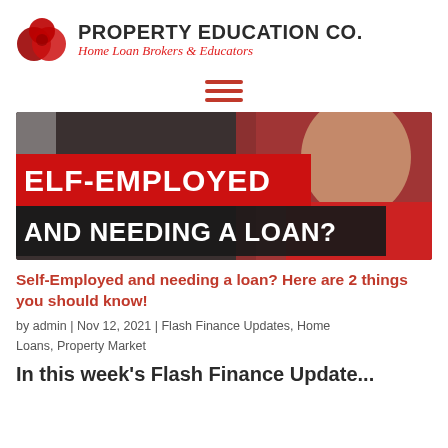[Figure (logo): Property Education Co. logo with two overlapping red circles and company name]
[Figure (illustration): Hamburger menu icon with three red horizontal bars]
[Figure (screenshot): Video thumbnail showing a woman in red with overlaid text: SELF-EMPLOYED AND NEEDING A LOAN?]
Self-Employed and needing a loan? Here are 2 things you should know!
by admin | Nov 12, 2021 | Flash Finance Updates, Home Loans, Property Market
In this week's Flash Finance Update...